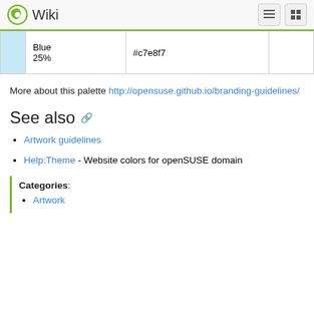Wiki
|  |  | #c7e8f7 |  |
| --- | --- | --- | --- |
|  | Blue
25% | #c7e8f7 |  |
More about this palette http://opensuse.github.io/branding-guidelines/
See also
Artwork guidelines
Help:Theme - Website colors for openSUSE domain
Categories:
Artwork